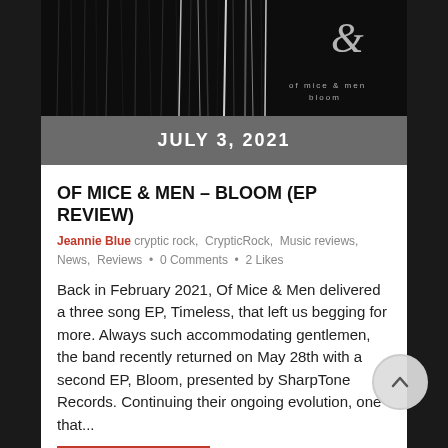[Figure (photo): Album cover for Of Mice & Men - Bloom. Dark background with vertical white scratchy lines, an ampersand symbol in top right corner, and band/album name text: 'of mice & men bloom']
JULY 3, 2021
OF MICE & MEN – BLOOM (EP REVIEW)
Jeannie Blue cryptic rock, CrypticRock, Music reviews, News, Reviews • 0 Comments • 2 Likes
Back in February 2021, Of Mice & Men delivered a three song EP, Timeless, that left us begging for more. Always such accommodating gentlemen, the band recently returned on May 28th with a second EP, Bloom, presented by SharpTone Records. Continuing their ongoing evolution, one that...
READ MORE